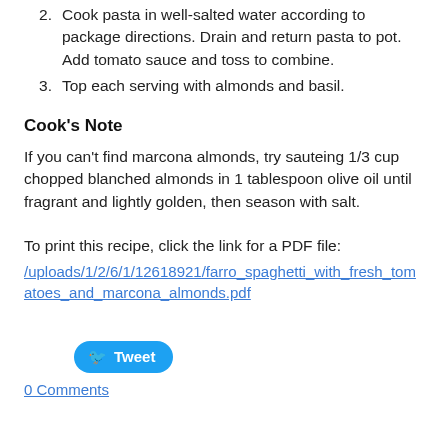2. Cook pasta in well-salted water according to package directions. Drain and return pasta to pot. Add tomato sauce and toss to combine.
3. Top each serving with almonds and basil.
Cook's Note
If you can't find marcona almonds, try sauteing 1/3 cup chopped blanched almonds in 1 tablespoon olive oil until fragrant and lightly golden, then season with salt.
To print this recipe, click the link for a PDF file:
/uploads/1/2/6/1/12618921/farro_spaghetti_with_fresh_tomatoes_and_marcona_almonds.pdf
Tweet
0 Comments